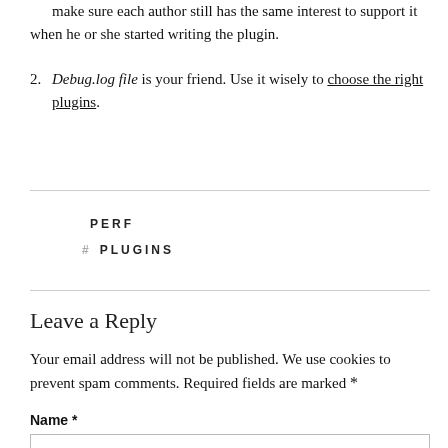make sure each author still has the same interest to support it when he or she started writing the plugin.
Debug.log file is your friend. Use it wisely to choose the right plugins.
PERF
# PLUGINS
Leave a Reply
Your email address will not be published. We use cookies to prevent spam comments. Required fields are marked *
Name *